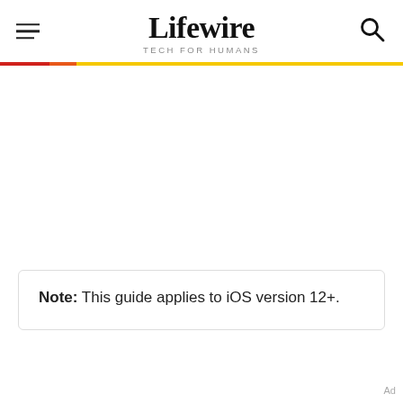Lifewire TECH FOR HUMANS
Note: This guide applies to iOS version 12+.